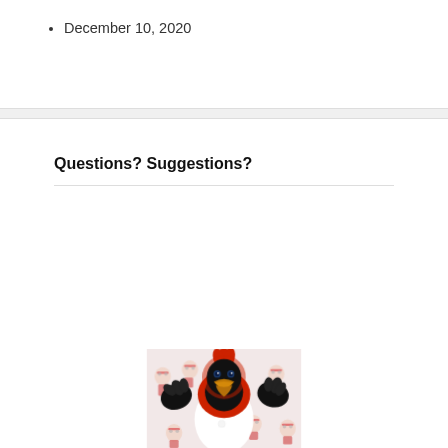December 10, 2020
Questions? Suggestions?
[Figure (photo): A university cardinal bird mascot costume with red and black feathers, golden beak, wearing a white shirt with a sticker, waving both hands, standing in front of a backdrop featuring cartoon character illustrations wearing sunglasses.]